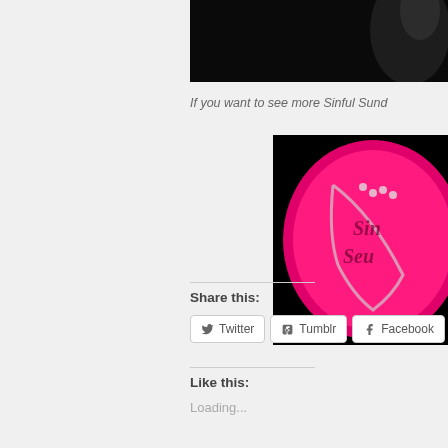[Figure (photo): Partial cropped photo with dark/black background showing a small portion of a figure or smoke against black]
If you want to see more Sinful Sund...
[Figure (photo): Circular logo on pink/magenta background with bead necklace and text reading 'Sinful Sunday']
Share this:
Twitter
Tumblr
Facebook
Like this:
Loading...